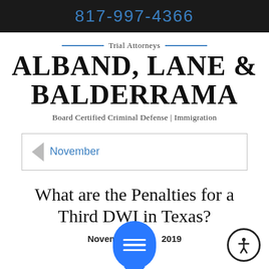817-997-4366
Trial Attorneys
ALBAND, LANE & BALDERRAMA
Board Certified Criminal Defense | Immigration
< November
What are the Penalties for a Third DWI in Texas?
November 2019